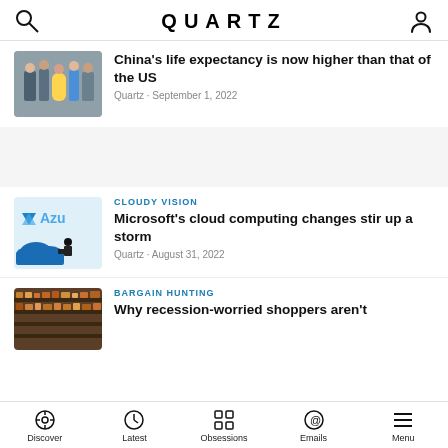QUARTZ
[Figure (screenshot): Thumbnail photo of children/people in outdoor setting]
China's life expectancy is now higher than that of the US
Quartz · September 1, 2022
[Figure (screenshot): Azure cloud computing illustration with blue clouds and silhouette]
CLOUDY VISION
Microsoft's cloud computing changes stir up a storm
Quartz · August 31, 2022
[Figure (screenshot): Store shelves with products]
BARGAIN HUNTING
Why recession-worried shoppers aren't
Discover · Latest · Obsessions · Emails · Menu